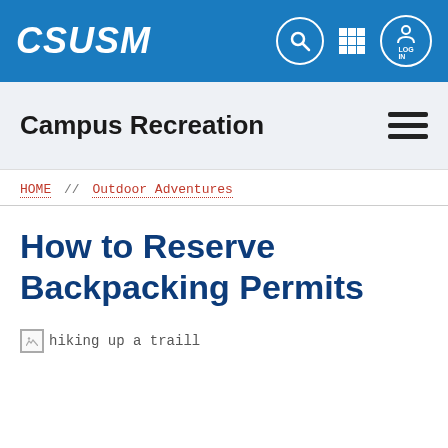CSUSM — Campus Recreation
Campus Recreation
HOME // Outdoor Adventures
How to Reserve Backpacking Permits
[Figure (photo): Broken image placeholder with alt text: hiking up a traill]